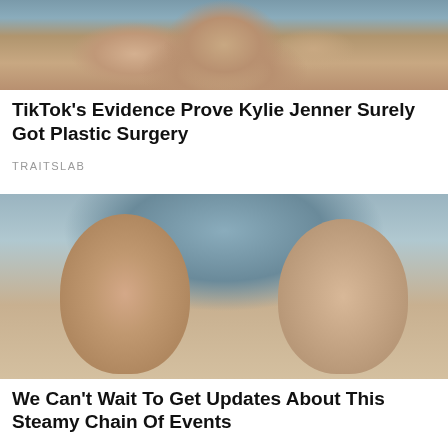[Figure (photo): Cropped photo of a woman in a bikini on a boat, showing torso and dark hair]
TikTok's Evidence Prove Kylie Jenner Surely Got Plastic Surgery
TRAITSLAB
[Figure (photo): Selfie photo of a couple — a woman with dark hair and sunglasses on her head leaning against a man with short brown hair, outdoors near water with rocky background]
We Can't Wait To Get Updates About This Steamy Chain Of Events
HERBEAUTY